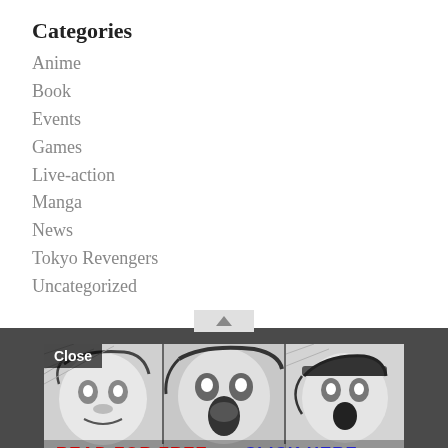Categories
Anime
Book
Events
Games
Live-action
Manga
News
Tokyo Revengers
Uncategorized
[Figure (illustration): Manga advertisement banner showing three anime/manga character faces in black and white art style, with 'Close' button, 'READ FOR FREE' text in red and 'CLICK HERE' text in blue]